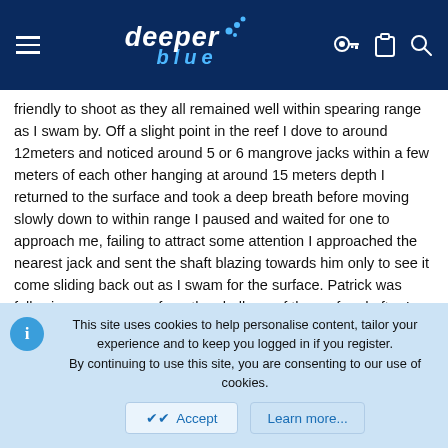deeper blue [logo with navigation icons]
friendly to shoot as they all remained well within spearing range as I swam by. Off a slight point in the reef I dove to around 12meters and noticed around 5 or 6 mangrove jacks within a few meters of each other hanging at around 15 meters depth I returned to the surface and took a deep breath before moving slowly down to within range I paused and waited for one to approach me, failing to attract some attention I approached the nearest jack and sent the shaft blazing towards him only to see it come sliding back out as I swam for the surface. Patrick was following my progress from the shallows of the reef and after I pointed out a large triggerfish swimming around 7m below us he asked if I would shoot it for him. Triggerfish is not a fish I have eaten before but Patrick was certain it was a good tasting fish so I swam down and nailed the fish in the spine, my aim was finally coming true. Swimming along I saw a few trevally and other pelagics but not the mackerel or tuna I was looking for.
This site uses cookies to help personalise content, tailor your experience and to keep you logged in if you register.
By continuing to use this site, you are consenting to our use of cookies.